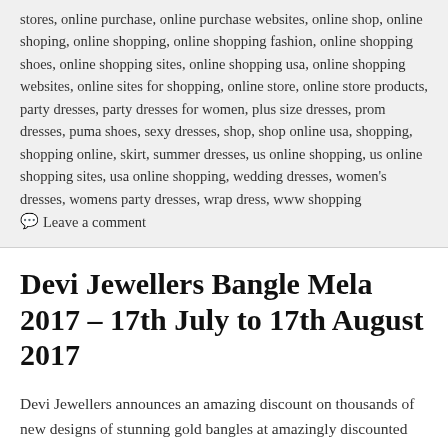stores, online purchase, online purchase websites, online shop, online shoping, online shopping, online shopping fashion, online shopping shoes, online shopping sites, online shopping usa, online shopping websites, online sites for shopping, online store, online store products, party dresses, party dresses for women, plus size dresses, prom dresses, puma shoes, sexy dresses, shop, shop online usa, shopping, shopping online, skirt, summer dresses, us online shopping, us online shopping sites, usa online shopping, wedding dresses, women's dresses, womens party dresses, wrap dress, www shopping  💬 Leave a comment
Devi Jewellers Bangle Mela 2017 – 17th July to 17th August 2017
Devi Jewellers announces an amazing discount on thousands of new designs of stunning gold bangles at amazingly discounted prices, waived labour charges on over 90% of bangle collections, special